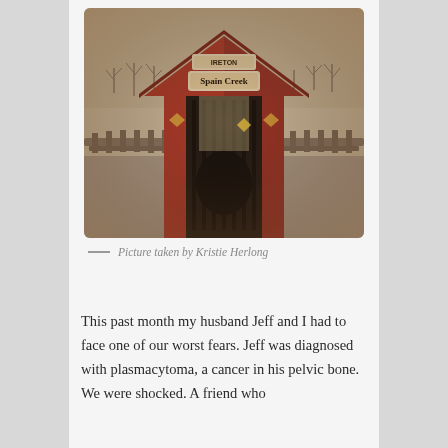[Figure (photo): Photograph of Spain Creek covered bridge, a red wooden covered bridge with sign reading 'Spain Creek' above the entrance, viewed from the front. Photo has a sepia/vintage Instagram-style filter. Photo credit: Kristie Herlong.]
— Picture taken by Kristie Herlong
This past month my husband Jeff and I had to face one of our worst fears. Jeff was diagnosed with plasmacytoma, a cancer in his pelvic bone. We were shocked. A friend who